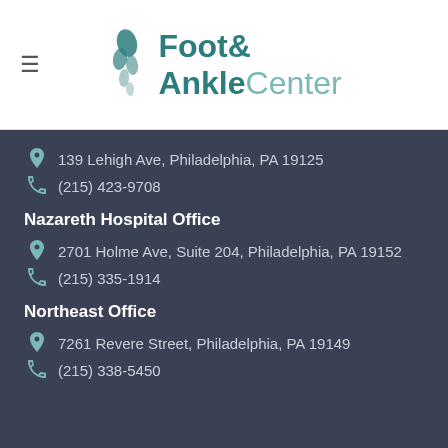[Figure (logo): Foot & Ankle Center logo with stylized foot/leaf icon and teal text]
139 Lehigh Ave, Philadelphia, PA 19125
(215) 423-9708
Nazareth Hospital Office
2701 Holme Ave, Suite 204, Philadelphia, PA 19152
(215) 335-1914
Northeast Office
7261 Revere Street, Philadelphia, PA 19149
(215) 338-5450